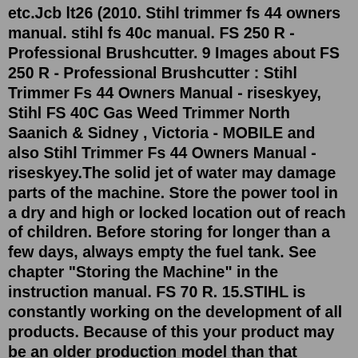etc.Jcb lt26 (2010. Stihl trimmer fs 44 owners manual. stihl fs 40c manual. FS 250 R - Professional Brushcutter. 9 Images about FS 250 R - Professional Brushcutter : Stihl Trimmer Fs 44 Owners Manual - riseskyey, Stihl FS 40C Gas Weed Trimmer North Saanich & Sidney , Victoria - MOBILE and also Stihl Trimmer Fs 44 Owners Manual - riseskyey.The solid jet of water may damage parts of the machine. Store the power tool in a dry and high or locked location out of reach of children. Before storing for longer than a few days, always empty the fuel tank. See chapter "Storing the Machine" in the instruction manual. FS 70 R. 15.STIHL is constantly working on the development of all products. Because of this your product may be an older production model than that referenced in this version of the operator's manual. Please also review and familiarize yourself with our safety brochures. Operator's manuals for older machines may not be available online. Please contact your ...29 Stihl Ts400 Parts Diagram - Wiring Diagram...